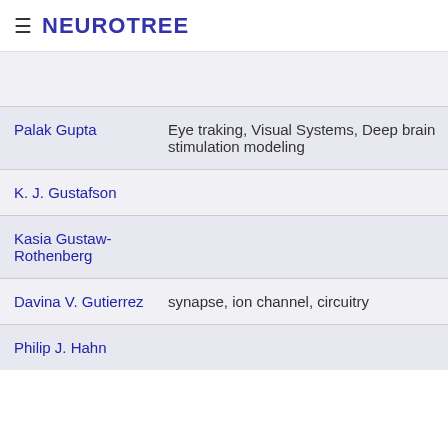≡ NEUROTREE
| Name | Research Interests |
| --- | --- |
|  |  |
| Palak Gupta | Eye traking, Visual Systems, Deep brain stimulation modeling |
| K. J. Gustafson |  |
| Kasia Gustaw-Rothenberg |  |
| Davina V. Gutierrez | synapse, ion channel, circuitry |
| Philip J. Hahn |  |